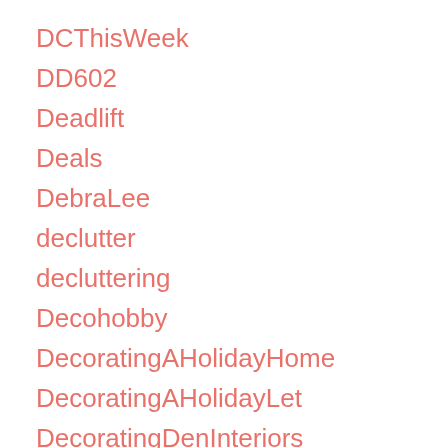DCThisWeek
DD602
Deadlift
Deals
DebraLee
declutter
decluttering
Decohobby
DecoratingAHolidayHome
DecoratingAHolidayLet
DecoratingDenInteriors
DecoratingWithPaperFlowers
decoration
DecorationIdeasPinterest